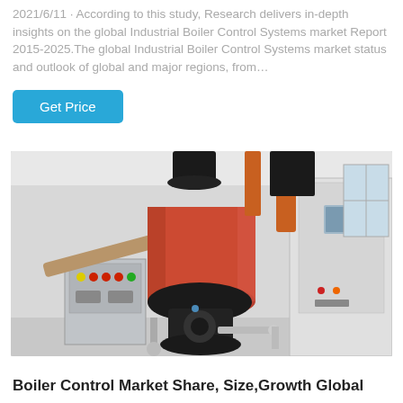2021/6/11 · According to this study, Research delivers in-depth insights on the global Industrial Boiler Control Systems market Report 2015-2025.The global Industrial Boiler Control Systems market status and outlook of global and major regions, from…
[Figure (photo): Industrial boiler control system equipment in a facility, showing a large red cylindrical boiler with black exhaust stack and orange pipe on top, black burner assembly in the center, control panels with colored indicators on the left side, and an industrial control cabinet with touchscreen on the right side.]
Boiler Control Market Share, Size,Growth Global